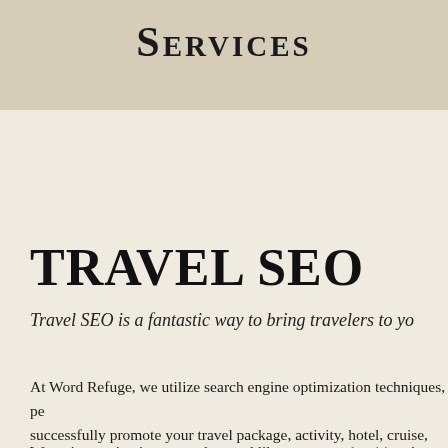Services
TRAVEL SEO
Travel SEO is a fantastic way to bring travelers to yo…
At Word Refuge, we utilize search engine optimization techniques, pe… successfully promote your travel package, activity, hotel, cruise, excu…
We write captivating prose that read like great travel writing, but also… SEO copywriters will not only inspire your audience to visit your webs… holiday or vacation.
How do we do this? How do we market your destination online?